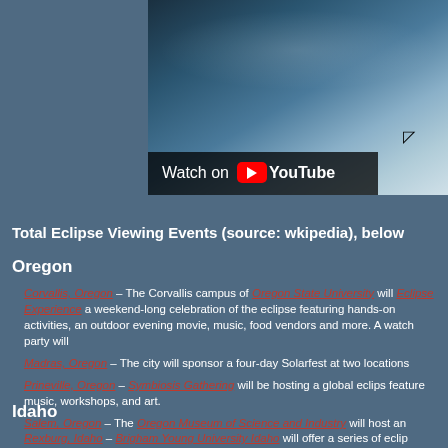[Figure (screenshot): YouTube video thumbnail showing Earth from space with 'Watch on YouTube' overlay button]
Total Eclipse Viewing Events (source: wkipedia), below
Oregon
Corvallis, Oregon – The Corvallis campus of Oregon State University will [host the Eclipse Experience] a weekend-long celebration of the eclipse featuring hands-on activities, an outdoor evening movie, music, food vendors and more. A watch party will [be held]
Madras, Oregon – The city will sponsor a four-day Solarfest at two locations
Prineville, Oregon – Symbiosis Gathering will be hosting a global eclipse event that will feature music, workshops, and art.
Salem, Oregon – The Oregon Museum of Science and Industry will host an [event]
Idaho
Rexburg, Idaho – Brigham Young University Idaho will offer a series of eclip[se events]